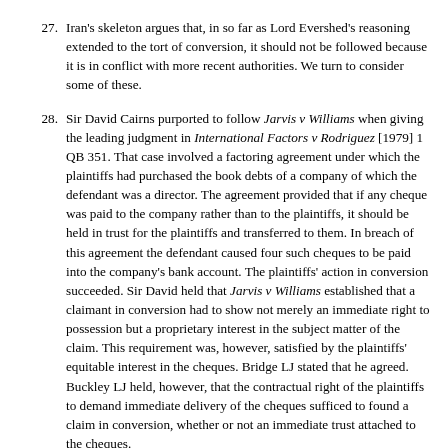27. Iran's skeleton argues that, in so far as Lord Evershed's reasoning extended to the tort of conversion, it should not be followed because it is in conflict with more recent authorities. We turn to consider some of these.
28. Sir David Cairns purported to follow Jarvis v Williams when giving the leading judgment in International Factors v Rodriguez [1979] 1 QB 351. That case involved a factoring agreement under which the plaintiffs had purchased the book debts of a company of which the defendant was a director. The agreement provided that if any cheque was paid to the company rather than to the plaintiffs, it should be held in trust for the plaintiffs and transferred to them. In breach of this agreement the defendant caused four such cheques to be paid into the company's bank account. The plaintiffs' action in conversion succeeded. Sir David held that Jarvis v Williams established that a claimant in conversion had to show not merely an immediate right to possession but a proprietary interest in the subject matter of the claim. This requirement was, however, satisfied by the plaintiffs' equitable interest in the cheques. Bridge LJ stated that he agreed. Buckley LJ held, however, that the contractual right of the plaintiffs to demand immediate delivery of the cheques sufficed to found a claim in conversion, whether or not an immediate trust attached to the cheques.